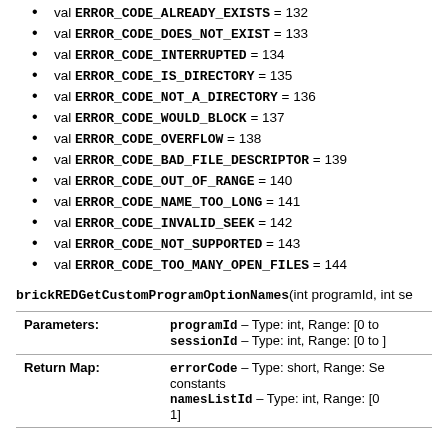val ERROR_CODE_ALREADY_EXISTS = 132
val ERROR_CODE_DOES_NOT_EXIST = 133
val ERROR_CODE_INTERRUPTED = 134
val ERROR_CODE_IS_DIRECTORY = 135
val ERROR_CODE_NOT_A_DIRECTORY = 136
val ERROR_CODE_WOULD_BLOCK = 137
val ERROR_CODE_OVERFLOW = 138
val ERROR_CODE_BAD_FILE_DESCRIPTOR = 139
val ERROR_CODE_OUT_OF_RANGE = 140
val ERROR_CODE_NAME_TOO_LONG = 141
val ERROR_CODE_INVALID_SEEK = 142
val ERROR_CODE_NOT_SUPPORTED = 143
val ERROR_CODE_TOO_MANY_OPEN_FILES = 144
brickREDGetCustomProgramOptionNames(int programId, int se
|  |  |
| --- | --- |
| Parameters: | programId – Type: int, Range: [0 to
sessionId – Type: int, Range: [0 to ] |
| Return Map: | errorCode – Type: short, Range: Se constants
namesListId – Type: int, Range: [0 1] |